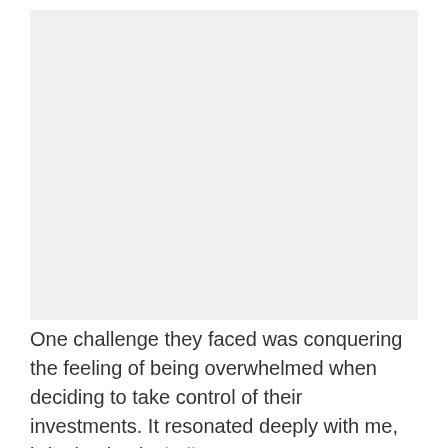[Figure (other): Large image placeholder occupying the upper portion of the page, light gray background]
One challenge they faced was conquering the feeling of being overwhelmed when deciding to take control of their investments. It resonated deeply with me, bringing back challenges my